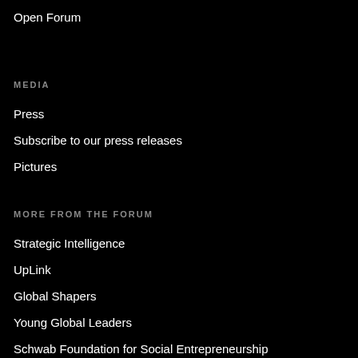Open Forum
MEDIA
Press
Subscribe to our press releases
Pictures
MORE FROM THE FORUM
Strategic Intelligence
UpLink
Global Shapers
Young Global Leaders
Schwab Foundation for Social Entrepreneurship
Centre for the Fourth Industrial Revolution
New Champions